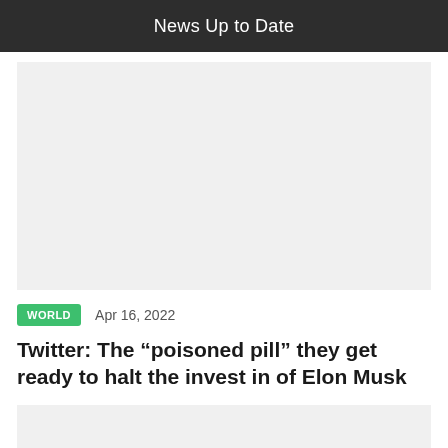News Up to Date
[Figure (photo): Large image placeholder (light gray) — article header image]
WORLD   Apr 16, 2022
Twitter: The “poisoned pill” they get ready to halt the invest in of Elon Musk
[Figure (photo): Partial image placeholder (light gray) at bottom — article body image]